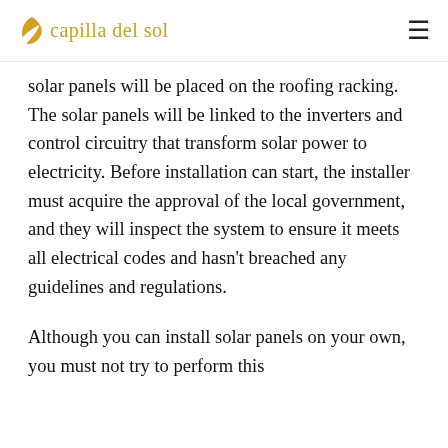capilla del sol
solar panels will be placed on the roofing racking. The solar panels will be linked to the inverters and control circuitry that transform solar power to electricity. Before installation can start, the installer must acquire the approval of the local government, and they will inspect the system to ensure it meets all electrical codes and hasn't breached any guidelines and regulations.
Although you can install solar panels on your own, you must not try to perform this